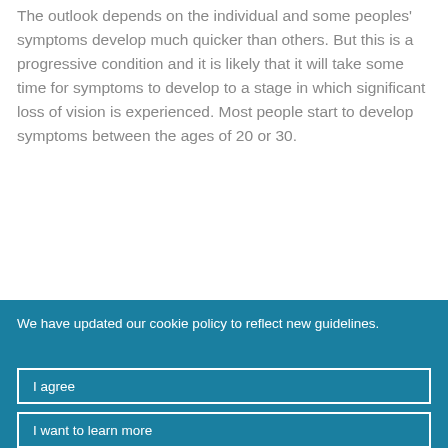The outlook depends on the individual and some peoples' symptoms develop much quicker than others. But this is a progressive condition and it is likely that it will take some time for symptoms to develop to a stage in which significant loss of vision is experienced. Most people start to develop symptoms between the ages of 20 or 30.
We have updated our cookie policy to reflect new guidelines.
I agree
I want to learn more